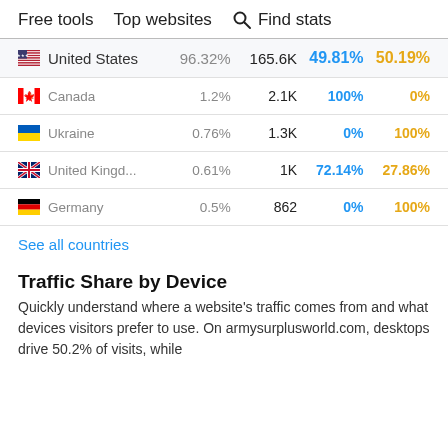Free tools   Top websites   Find stats
| Country | % | Visits | Desktop | Mobile |
| --- | --- | --- | --- | --- |
| United States | 96.32% | 165.6K | 49.81% | 50.19% |
| Canada | 1.2% | 2.1K | 100% | 0% |
| Ukraine | 0.76% | 1.3K | 0% | 100% |
| United Kingd... | 0.61% | 1K | 72.14% | 27.86% |
| Germany | 0.5% | 862 | 0% | 100% |
See all countries
Traffic Share by Device
Quickly understand where a website's traffic comes from and what devices visitors prefer to use. On armysurplusworld.com, desktops drive 50.2% of visits, while